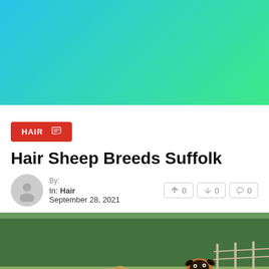[Figure (illustration): Hero banner with blue-to-green gradient background]
HAIR
Hair Sheep Breeds Suffolk
By:
In: Hair
September 28, 2021
👍 0  👎 0  💬 0
[Figure (photo): Photo of hair sheep (Suffolk breed) in a grassy field with trees and fencing in the background]